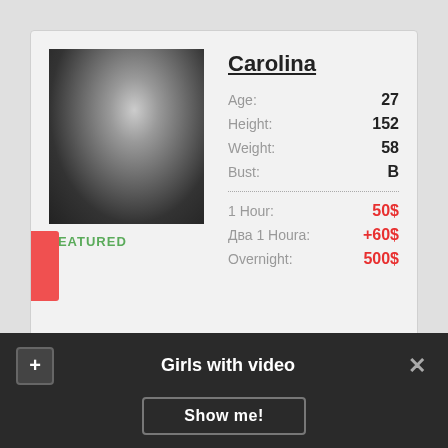Carolina
Age: 27 | Height: 152 | Weight: 58 | Bust: B | 1 Hour: 50$ | Два 1 Houra: +60$ | Overnight: 500$
FEATURED
Eleanor
Girls with video
Show me!